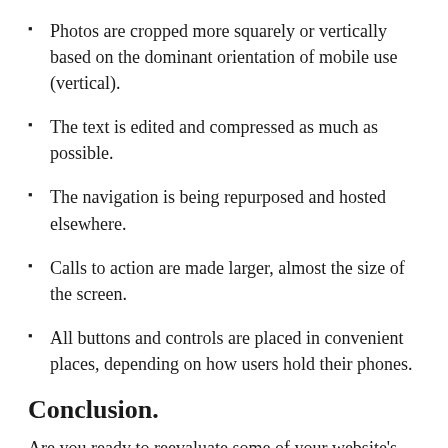Photos are cropped more squarely or vertically based on the dominant orientation of mobile use (vertical).
The text is edited and compressed as much as possible.
The navigation is being repurposed and hosted elsewhere.
Calls to action are made larger, almost the size of the screen.
All buttons and controls are placed in convenient places, depending on how users hold their phones.
Conclusion.
Are you ready to reevaluate some of your website's content? If you've built a good website and assumed